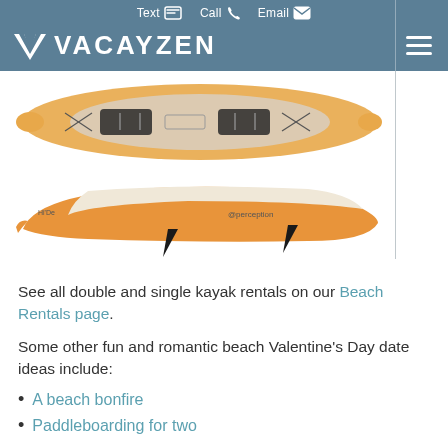Text  Call  Email | VACAYZEN
[Figure (photo): Top-down view of a tandem orange and clear kayak with two seats and paddles, and a side view of an orange and white kayak with fins]
See all double and single kayak rentals on our Beach Rentals page.
Some other fun and romantic beach Valentine's Day date ideas include:
A beach bonfire
Paddleboarding for two